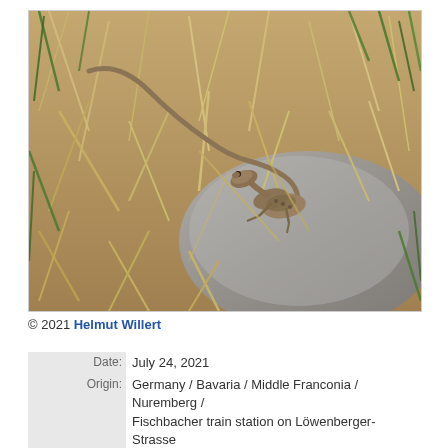[Figure (photo): A lizard (likely a wall lizard or sand lizard, female) resting on a stone surface among dry grass and some green vegetation. The photo was taken outdoors in bright sunlight.]
© 2021 Helmut Willert
| Date: | July 24, 2021 |
| Origin: | Germany / Bavaria / Middle Franconia / Nuremberg / Fischbacher train station on Löwenberger-Strasse |
| Sex: | Female |
|  | Adult |